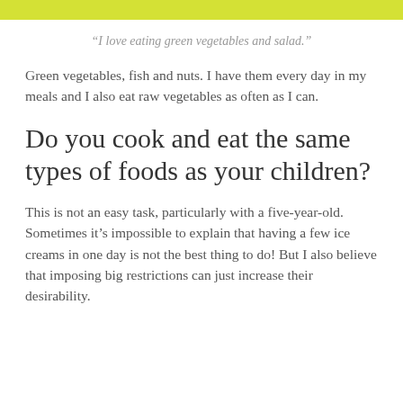[Figure (other): Yellow-green decorative banner bar at the top of the page]
“I love eating green vegetables and salad.”
Green vegetables, fish and nuts. I have them every day in my meals and I also eat raw vegetables as often as I can.
Do you cook and eat the same types of foods as your children?
This is not an easy task, particularly with a five-year-old. Sometimes it’s impossible to explain that having a few ice creams in one day is not the best thing to do! But I also believe that imposing big restrictions can just increase their desirability.